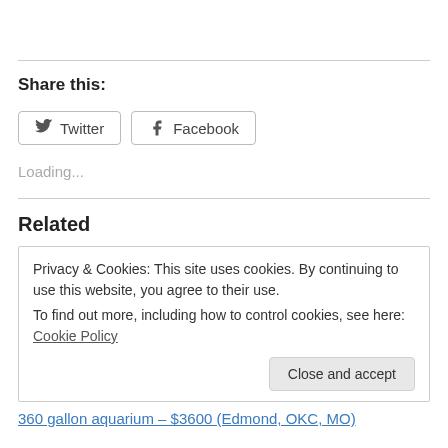Share this:
[Figure (other): Twitter and Facebook share buttons]
Loading...
Related
Privacy & Cookies: This site uses cookies. By continuing to use this website, you agree to their use.
To find out more, including how to control cookies, see here: Cookie Policy
Close and accept
360 gallon aquarium – $3600 (Edmond, OKC, MO)